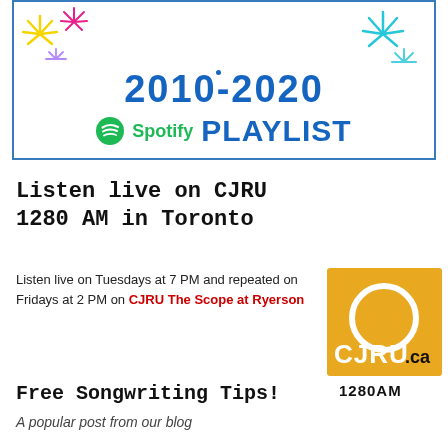[Figure (illustration): Banner with blue border showing '2010-2020' in large bold blue text, colorful firework decorations in corners, a blue dot in center, and Spotify logo with 'PLAYLIST' text in large blue bold letters at the bottom.]
Listen live on CJRU 1280 AM in Toronto
Listen live on Tuesdays at 7 PM and repeated on Fridays at 2 PM on CJRU The Scope at Ryerson
[Figure (logo): CJRU.ca 1280AM logo — orange/golden square with a white circle outline, text 'CJRU.ca' and '1280AM' below.]
Free Songwriting Tips!
A popular post from our blog